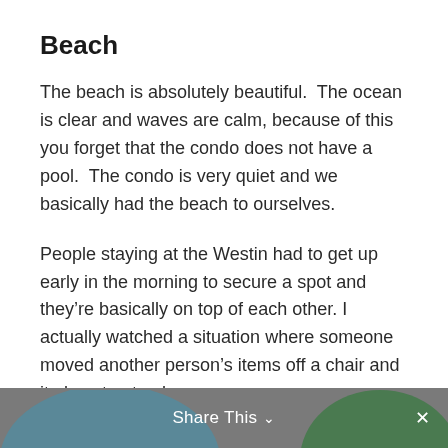Beach
The beach is absolutely beautiful.  The ocean is clear and waves are calm, because of this you forget that the condo does not have a pool.  The condo is very quiet and we basically had the beach to ourselves.
People staying at the Westin had to get up early in the morning to secure a spot and they’re basically on top of each other. I actually watched a situation where someone moved another person’s items off a chair and it almost got ugly.
Share This ∨  ×